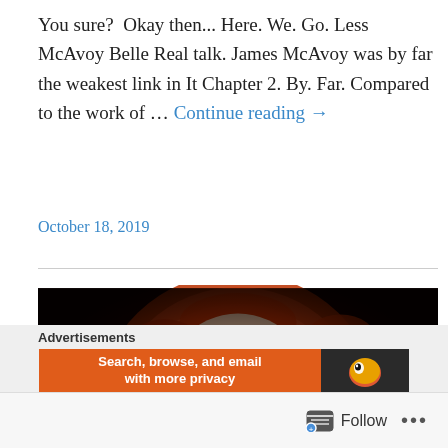You sure?  Okay then... Here. We. Go. Less McAvoy Belle Real talk. James McAvoy was by far the weakest link in It Chapter 2. By. Far. Compared to the work of … Continue reading →
October 18, 2019
[Figure (photo): Close-up image of a sinister clown face (Pennywise) carved or rendered in orange and red tones on a dark background, with glowing eyes and a wide grin.]
Advertisements
Search, browse, and email with more privacy